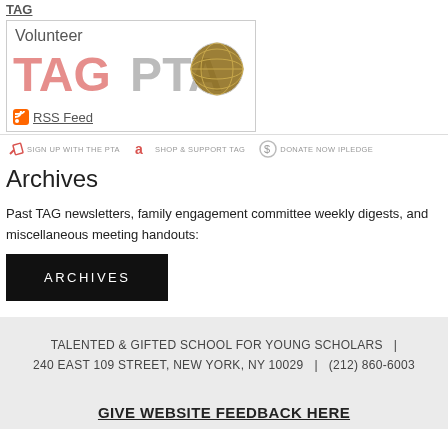[Figure (logo): TAG PTA logo with 'Volunteer' text and RSS feed link, inside a bordered box]
[Figure (infographic): Navigation bar with three items: SIGN UP WITH THE PTA, SHOP & SUPPORT TAG, DONATE NOW IPLEDGE]
Archives
Past TAG newsletters, family engagement committee weekly digests, and miscellaneous meeting handouts:
[Figure (other): Black button labeled ARCHIVES]
TALENTED & GIFTED SCHOOL FOR YOUNG SCHOLARS  |  240 EAST 109 STREET, NEW YORK, NY 10029  |  (212) 860-6003
GIVE WEBSITE FEEDBACK HERE